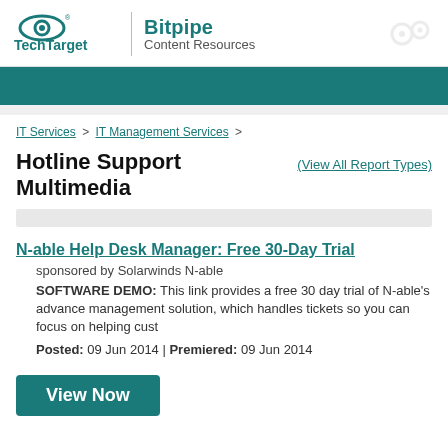[Figure (logo): TechTarget Bitpipe Content Resources logo with eye icon and gear icon]
[Figure (other): Teal/dark cyan banner strip across full width]
IT Services > IT Management Services >
Hotline Support Multimedia (View All Report Types)
N-able Help Desk Manager: Free 30-Day Trial
sponsored by Solarwinds N-able
SOFTWARE DEMO: This link provides a free 30 day trial of N-able's advance management solution, which handles tickets so you can focus on helping cust
Posted: 09 Jun 2014 | Premiered: 09 Jun 2014
View Now